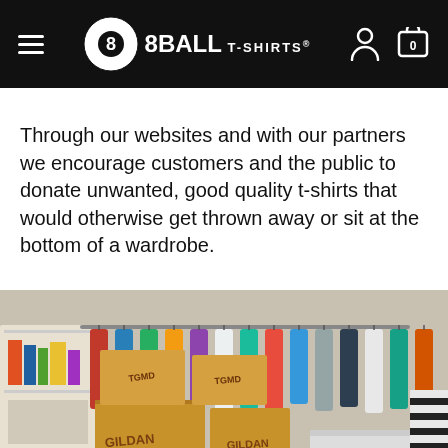8BALL T-SHIRTS
Through our websites and with our partners we encourage customers and the public to donate unwanted, good quality t-shirts that would otherwise get thrown away or sit at the bottom of a wardrobe.
[Figure (photo): A room filled with donated t-shirts on a hanging rail and multiple cardboard boxes (branded GILDAN, BERICAP) and colourful bags piled on the floor, including a green 'WE FOUND IT' bag and an orange bag, alongside white bin bags of clothing.]